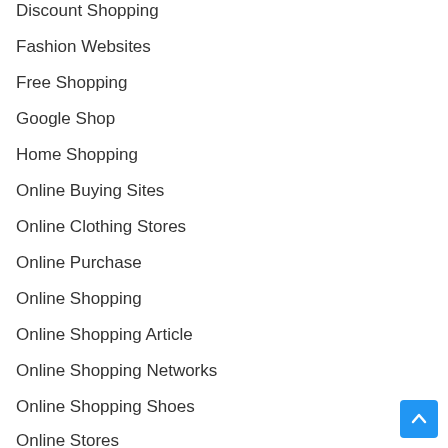Discount Shopping
Fashion Websites
Free Shopping
Google Shop
Home Shopping
Online Buying Sites
Online Clothing Stores
Online Purchase
Online Shopping
Online Shopping Article
Online Shopping Networks
Online Shopping Shoes
Online Stores